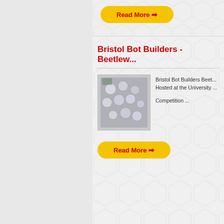[Figure (screenshot): Partial view of a website card with a yellow 'Read More' button at the top (cropped from previous card)]
Bristol Bot Builders - Beetlew...
[Figure (photo): Photo showing metallic/silver robot parts or arenas laid out on a floor, viewed from above]
Bristol Bot Builders Beet... Hosted at the University ... Competition ...
Read More ➡
Fighting Robots Association H... Championship 2017
[Figure (photo): Photo of a group of people posing with fighting robots and trophies in a dark arena with colorful lighting]
Fighting Robots Associa... Championship 2017 Hosted by Robots Live! ...
Read More ➡